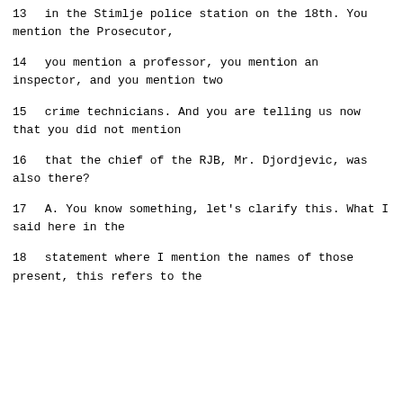13      in the Stimlje police station on the 18th.  You mention the Prosecutor,
14      you mention a professor, you mention an inspector, and you mention two
15      crime technicians.  And you are telling us now that you did not mention
16      that the chief of the RJB, Mr. Djordjevic, was also there?
17         A.   You know something, let's clarify this.  What I said here in the
18      statement where I mention the names of those present, this refers to the